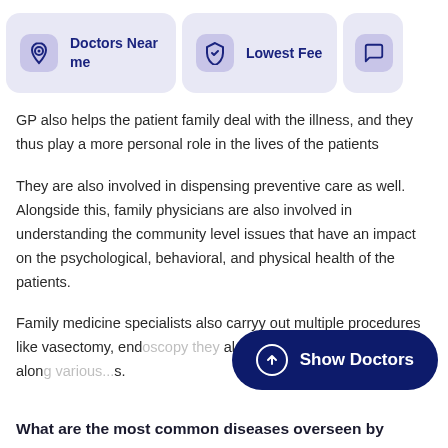[Figure (screenshot): Navigation bar with 'Doctors Near me' card (location pin icon), 'Lowest Fee' card (shield with check icon), and a partially visible third card with chat icon]
GP also helps the patient family deal with the illness, and they thus play a more personal role in the lives of the patients
They are also involved in dispensing preventive care as well. Alongside this, family physicians are also involved in understanding the community level issues that have an impact on the psychological, behavioral, and physical health of the patients.
Family medicine specialists also carry out multiple procedures like vasectomy, end... they also deliver emergency care along...s.
[Figure (other): Dark navy 'Show Doctors' button with upward arrow circle icon]
What are the most common diseases overseen by